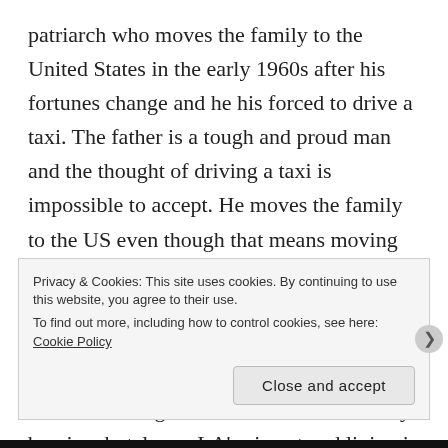patriarch who moves the family to the United States in the early 1960s after his fortunes change and he his forced to drive a taxi. The father is a tough and proud man and the thought of driving a taxi is impossible to accept. He moves the family to the US even though that means moving his teenage boys to a country where they don't speak much English. Carlos, who had always been the good student, the one expected to succeed, soon finds himself adrift. After high school he works as a busy boy in a hotel near LA's airport and living in a dive in Hollywood since he can't stand his parents. It is a lonely
Privacy & Cookies: This site uses cookies. By continuing to use this website, you agree to their use.
To find out more, including how to control cookies, see here: Cookie Policy
[Close and accept]